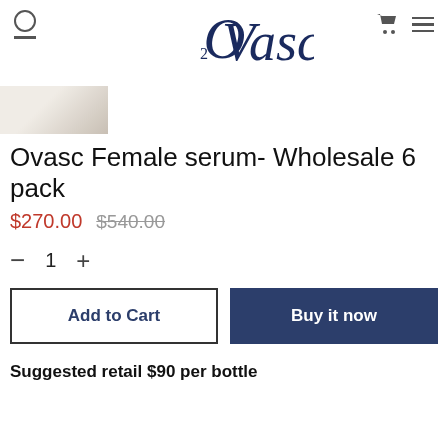[Figure (logo): O2Vasc brand logo in navy blue cursive script]
[Figure (photo): Partial product image strip showing a cosmetic bottle on white/cream background]
Ovasc Female serum- Wholesale 6 pack
$270.00  $540.00
- 1 +
Add to Cart
Buy it now
Suggested retail $90 per bottle